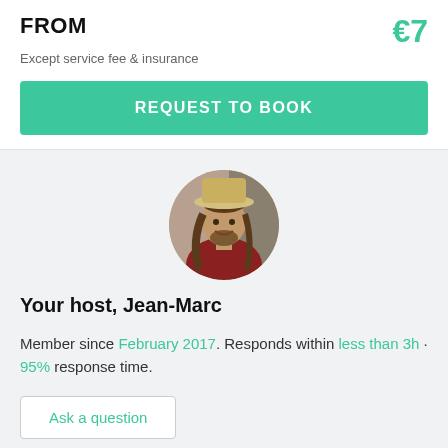FROM
€7
Except service fee & insurance
REQUEST TO BOOK
[Figure (photo): Circular profile photo of a man with long hair and a straw hat, wearing a red shirt]
Your host, Jean-Marc
Member since February 2017. Responds within less than 3h · 95% response time.
Ask a question
Amenities